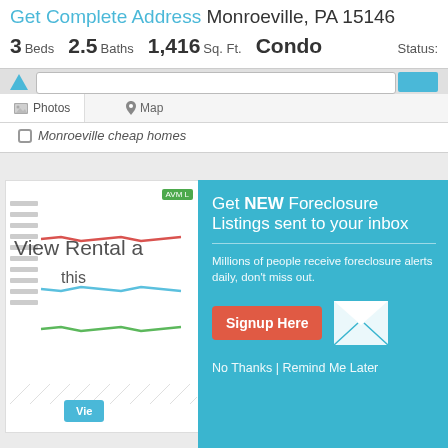Get Complete Address Monroeville, PA 15146
3 Beds  2.5 Baths  1,416 Sq. Ft.  Condo  Status:
Monroeville cheap homes
[Figure (screenshot): Real estate listing page screenshot with Photos/Map tab bar and an AVM chart showing rental lines, overlaid with a teal modal popup]
Get NEW Foreclosure Listings sent to your inbox
Millions of people receive foreclosure alerts daily, don't miss out.
Signup Here
No Thanks | Remind Me Later